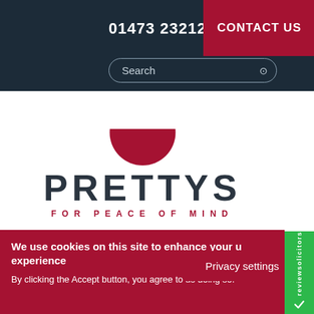01473 232121
CONTACT US
Search
[Figure (logo): Prettys solicitors logo — dark red semicircle above the word PRETTYS in large dark grey letters, with tagline FOR PEACE OF MIND in red below]
Privacy settings
We use cookies on this site to enhance your user experience
By clicking the Accept button, you agree to us doing so.
[Figure (logo): reviewsolicitors green badge on the right side with checkmark icon and vertical text]